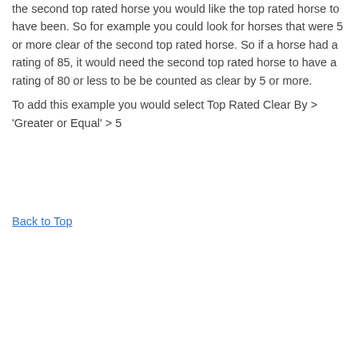the second top rated horse you would like the top rated horse to have been. So for example you could look for horses that were 5 or more clear of the second top rated horse. So if a horse had a rating of 85, it would need the second top rated horse to have a rating of 80 or less to be be counted as clear by 5 or more.
To add this example you would select Top Rated Clear By > 'Greater or Equal' > 5
Back to Top